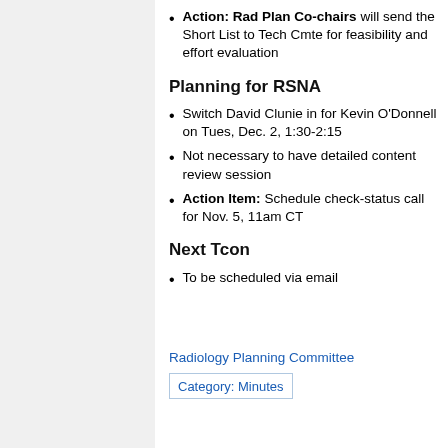Action: Rad Plan Co-chairs will send the Short List to Tech Cmte for feasibility and effort evaluation
Planning for RSNA
Switch David Clunie in for Kevin O'Donnell on Tues, Dec. 2, 1:30-2:15
Not necessary to have detailed content review session
Action Item: Schedule check-status call for Nov. 5, 11am CT
Next Tcon
To be scheduled via email
Radiology Planning Committee
Category: Minutes